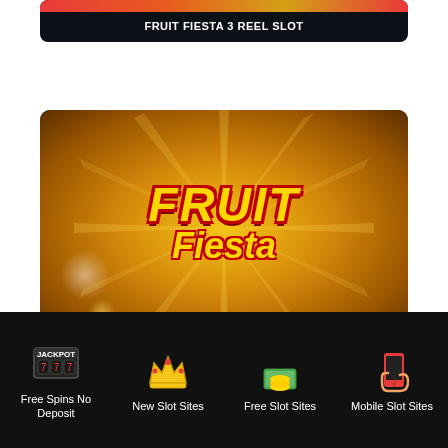[Figure (screenshot): Top card showing Fruit Fiesta 3 Reel Slot with colorful gradient banner]
FRUIT FIESTA 3 REEL SLOT
[Figure (screenshot): Fruit Fiesta Slot game logo on golden starburst background with fruit imagery]
FRUIT FIESTA SLOT
[Figure (screenshot): Partially visible third card with colorful gradient banner]
Free Spins No Deposit
New Slot Sites
Free Slot Sites
Mobile Slot Sites